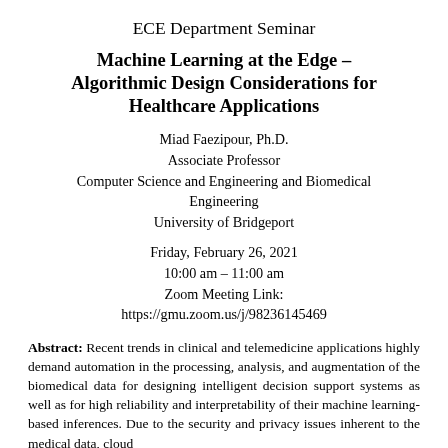ECE Department Seminar
Machine Learning at the Edge – Algorithmic Design Considerations for Healthcare Applications
Miad Faezipour, Ph.D.
Associate Professor
Computer Science and Engineering and Biomedical Engineering
University of Bridgeport
Friday, February 26, 2021
10:00 am – 11:00 am
Zoom Meeting Link:
https://gmu.zoom.us/j/98236145469
Abstract: Recent trends in clinical and telemedicine applications highly demand automation in the processing, analysis, and augmentation of the biomedical data for designing intelligent decision support systems as well as for high reliability and interpretability of their machine learning-based inferences. Due to the security and privacy issues inherent to the medical data, cloud